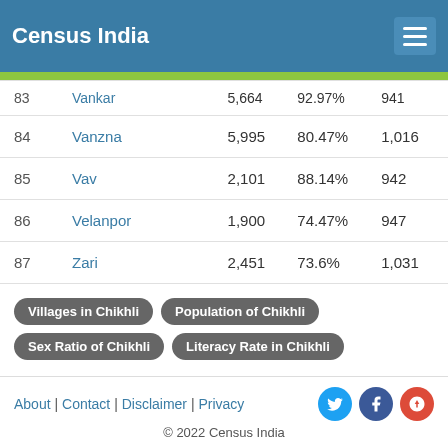Census India
| # | Name | Population | Literacy | Sex Ratio |
| --- | --- | --- | --- | --- |
| 83 | Vankar | 5,664 | 92.97% | 941 |
| 84 | Vanzna | 5,995 | 80.47% | 1,016 |
| 85 | Vav | 2,101 | 88.14% | 942 |
| 86 | Velanpor | 1,900 | 74.47% | 947 |
| 87 | Zari | 2,451 | 73.6% | 1,031 |
Villages in Chikhli
Population of Chikhli
Sex Ratio of Chikhli
Literacy Rate in Chikhli
About | Contact | Disclaimer | Privacy © 2022 Census India